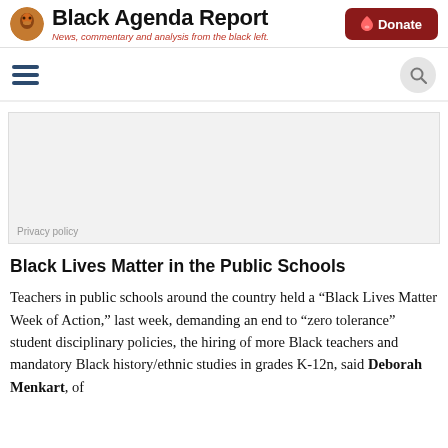Black Agenda Report — News, commentary and analysis from the black left.
[Figure (logo): Black Agenda Report logo with circular icon and site title]
[Figure (screenshot): Advertisement placeholder area with Privacy policy text]
Black Lives Matter in the Public Schools
Teachers in public schools around the country held a “Black Lives Matter Week of Action,” last week, demanding an end to “zero tolerance” student disciplinary policies, the hiring of more Black teachers and mandatory Black history/ethnic studies in grades K-12n, said Deborah Menkart, of